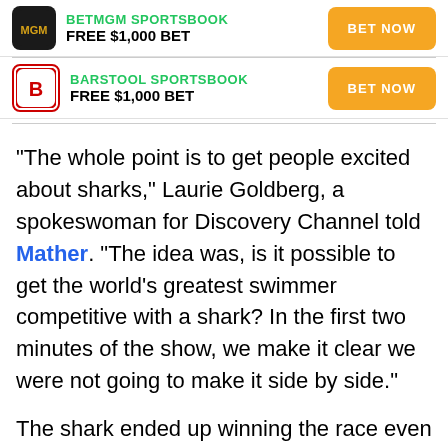[Figure (infographic): BetMGM Sportsbook ad row with logo, FREE $1,000 BET offer, and BET NOW button]
[Figure (infographic): Barstool Sportsbook ad row with logo, FREE $1,000 BET offer, and BET NOW button]
“The whole point is to get people excited about sharks,” Laurie Goldberg, a spokeswoman for Discovery Channel told Mather. “The idea was, is it possible to get the world’s greatest swimmer competitive with a shark? In the first two minutes of the show, we make it clear we were not going to make it side by side.”
The shark ended up winning the race even though Phelps was faster than the shark. The Olympic